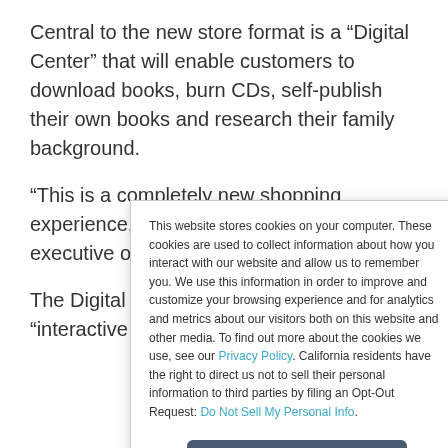Central to the new store format is a “Digital Center” that will enable customers to download books, burn CDs, self-publish their own books and research their family background.
“This is a completely new shopping experience,” said George Jones, chief executive officer of the company.
The Digital Centers, he noted, bring an “interactive dimension”
This website stores cookies on your computer. These cookies are used to collect information about how you interact with our website and allow us to remember you. We use this information in order to improve and customize your browsing experience and for analytics and metrics about our visitors both on this website and other media. To find out more about the cookies we use, see our Privacy Policy. California residents have the right to direct us not to sell their personal information to third parties by filing an Opt-Out Request: Do Not Sell My Personal Info.